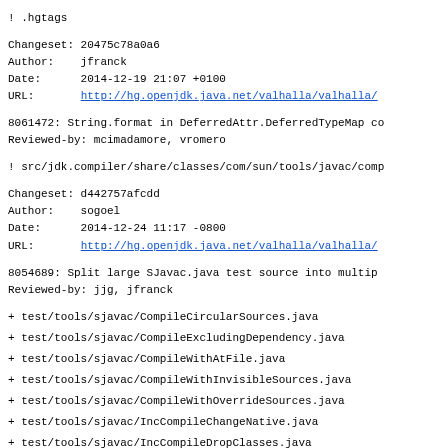! .hgtags
Changeset: 20475c78a0a6
Author:    jfranck
Date:      2014-12-19 21:07 +0100
URL:       http://hg.openjdk.java.net/valhalla/valhalla/
8061472: String.format in DeferredAttr.DeferredTypeMap co
Reviewed-by: mcimadamore, vromero
! src/jdk.compiler/share/classes/com/sun/tools/javac/comp
Changeset: d442757afcdd
Author:    sogoel
Date:      2014-12-24 11:17 -0800
URL:       http://hg.openjdk.java.net/valhalla/valhalla/
8054689: Split large SJavac.java test source into multip
Reviewed-by: jjg, jfranck
+ test/tools/sjavac/CompileCircularSources.java
+ test/tools/sjavac/CompileExcludingDependency.java
+ test/tools/sjavac/CompileWithAtFile.java
+ test/tools/sjavac/CompileWithInvisibleSources.java
+ test/tools/sjavac/CompileWithOverrideSources.java
+ test/tools/sjavac/IncCompileChangeNative.java
+ test/tools/sjavac/IncCompileDropClasses.java
+ test/tools/sjavac/IncCompileFullyQualifiedRef.java
+ test/tools/sjavac/IncCompileNoChanges.java